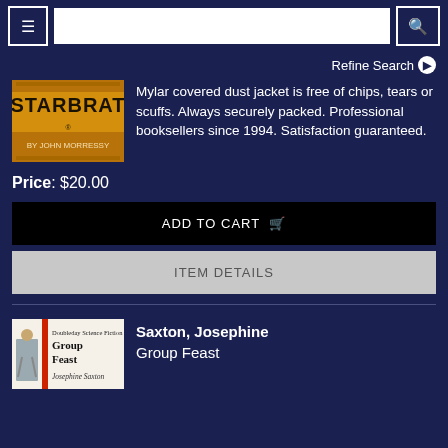Navigation bar with menu, search input, and search button
Refine Search
[Figure (illustration): Book cover for Starbrat by John Morressy, yellow/orange text on dark background]
Mylar covered dust jacket is free of chips, tears or scuffs. Always securely packed. Professional booksellers since 1994. Satisfaction guaranteed.
Price: $20.00
ADD TO CART
ITEM DETAILS
[Figure (illustration): Book cover for Group Feast by Josephine Saxton, Doubleday Science Fiction series]
Saxton, Josephine
Group Feast